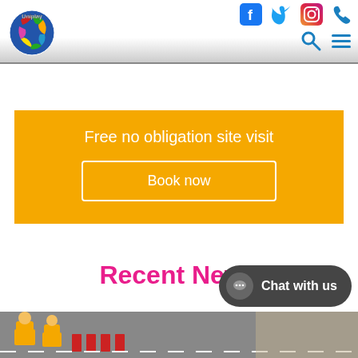[Figure (logo): Uniplay logo — colorful globe with 'Uniplay' text]
[Figure (infographic): Social media icons: Facebook, Twitter, Instagram, Phone; and navigation icons: Search, Menu burger]
Free no obligation site visit
Book now
Recent News
[Figure (photo): Workers in high-visibility orange jackets on a road, with red barriers]
Chat with us